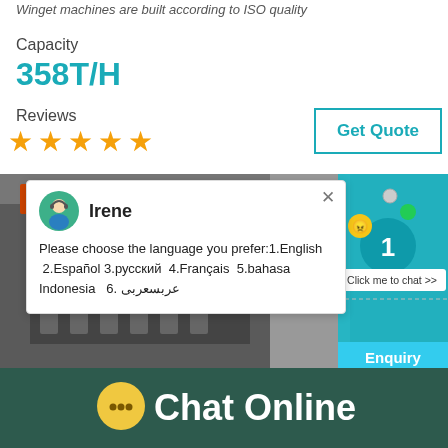Winget machines are built according to ISO quality
Capacity
358T/H
Reviews
[Figure (other): Five orange star rating icons]
Get Quote
[Figure (screenshot): Chat popup with avatar of Irene saying: Please choose the language you prefer:1.English 2.Español 3.русский 4.Français 5.bahasa Indonesia 6. عربسعربى]
[Figure (photo): Industrial crusher/hammer mill machine photo in gray and orange]
Chat Online